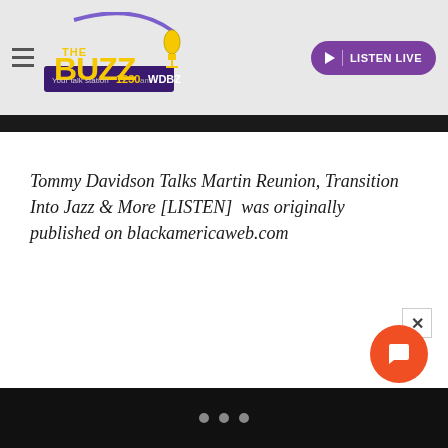[Figure (logo): The Buzz WDBZ 1230am radio station logo with microphone graphic and purple banner]
Tommy Davidson Talks Martin Reunion, Transition Into Jazz & More [LISTEN]  was originally published on blackamericaweb.com